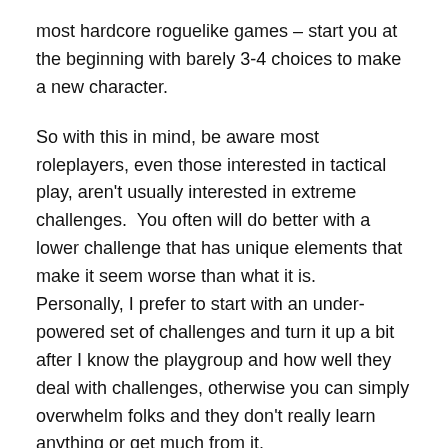most hardcore roguelike games – start you at the beginning with barely 3-4 choices to make a new character.
So with this in mind, be aware most roleplayers, even those interested in tactical play, aren't usually interested in extreme challenges.  You often will do better with a lower challenge that has unique elements that make it seem worse than what it is.  Personally, I prefer to start with an under-powered set of challenges and turn it up a bit after I know the playgroup and how well they deal with challenges, otherwise you can simply overwhelm folks and they don't really learn anything or get much from it.
Sandbox vs. Set Piece